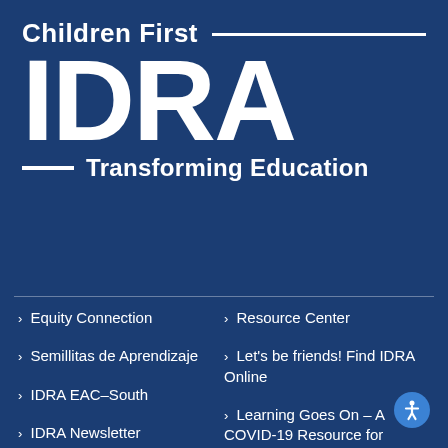[Figure (logo): IDRA Children First – Transforming Education logo on dark blue background. Large white bold 'IDRA' text with 'Children First' above and '— Transforming Education' tagline below, with decorative horizontal lines.]
› Equity Connection
› Resource Center
› Semillitas de Aprendizaje
› Let's be friends! Find IDRA Online
› IDRA EAC–South
› IDRA Newsletter
› Learning Goes On – A COVID-19 Resource for